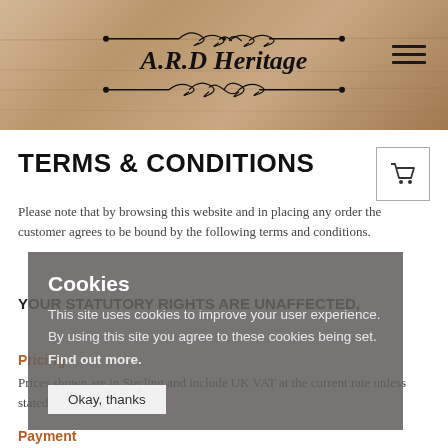A.R.D Heritage
TERMS & CONDITIONS
Please note that by browsing this website and in placing any order the customer agrees to be bound by the following terms and conditions.
YOUR STATUTORY RIGHTS ARE UNAFFECTED,
Pricing
Prices shown are in Sterling and include UK VAT at the current rate unless stated.
Payment
Cookies

This site uses cookies to improve your user experience. By using this site you agree to these cookies being set. Find out more.

Okay, thanks